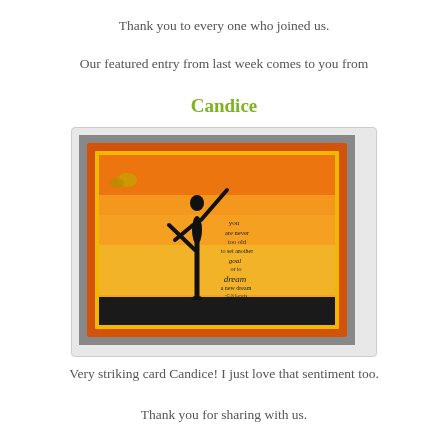Thank you to every one who joined us.
Our featured entry from last week comes to you from
Candice
[Figure (photo): A handmade greeting card featuring a black silhouette of a dancer posed against a warm orange and yellow sunset background. The card has an orange border and yellow inner border. Text on the card reads: 'you are never too old to set another goal or to dream a new dream - C.S. Lewis'. There is a small butterfly embellishment in the upper left of the card.]
Very striking card Candice! I just love that sentiment too.
Thank you for sharing with us.